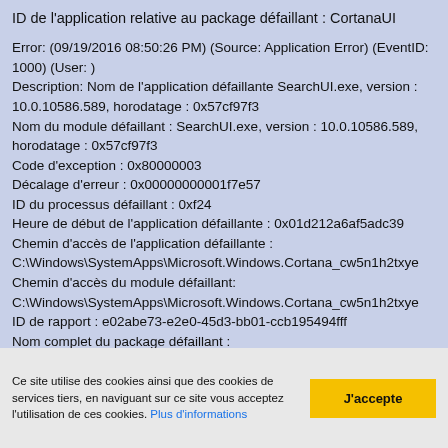ID de l'application relative au package défaillant : CortanaUI
Error: (09/19/2016 08:50:26 PM) (Source: Application Error) (EventID: 1000) (User: )
Description: Nom de l'application défaillante SearchUI.exe, version : 10.0.10586.589, horodatage : 0x57cf97f3
Nom du module défaillant : SearchUI.exe, version : 10.0.10586.589, horodatage : 0x57cf97f3
Code d'exception : 0x80000003
Décalage d'erreur : 0x00000000001f7e57
ID du processus défaillant : 0xf24
Heure de début de l'application défaillante : 0x01d212a6af5adc39
Chemin d'accès de l'application défaillante : C:\Windows\SystemApps\Microsoft.Windows.Cortana_cw5n1h2txye
Chemin d'accès du module défaillant: C:\Windows\SystemApps\Microsoft.Windows.Cortana_cw5n1h2txye
ID de rapport : e02abe73-e2e0-45d3-bb01-ccb195494fff
Nom complet du package défaillant :
Ce site utilise des cookies ainsi que des cookies de services tiers, en naviguant sur ce site vous acceptez l'utilisation de ces cookies. Plus d'informations